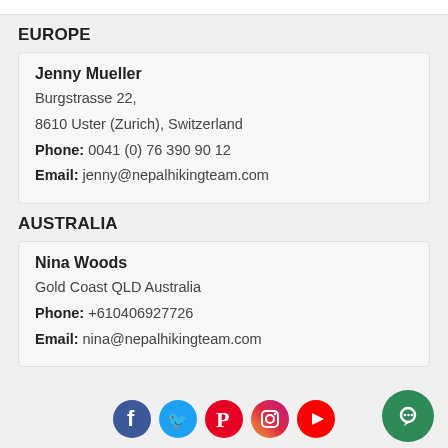EUROPE
Jenny Mueller
Burgstrasse 22,
8610 Uster (Zurich), Switzerland
Phone: 0041 (0) 76 390 90 12
Email: jenny@nepalhikingteam.com
AUSTRALIA
Nina Woods
Gold Coast QLD Australia
Phone: +610406927726
Email: nina@nepalhikingteam.com
[Figure (infographic): Social media icons: Facebook, Twitter, Pinterest, Instagram, YouTube, and a green chat button]